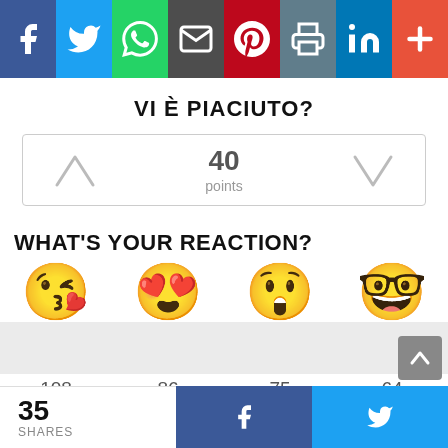[Figure (infographic): Social media share buttons bar: Facebook (blue), Twitter (light blue), WhatsApp (green), Email (dark gray), Pinterest (red), Print (gray), LinkedIn (blue), More (orange-red)]
VI È PIACIUTO?
[Figure (infographic): Voting widget showing upvote arrow, 40 points, and downvote arrow]
WHAT'S YOUR REACTION?
[Figure (infographic): Reaction emoji row: kissing face with heart (108), heart eyes (86), astonished face (75), nerd face (64)]
35 SHARES | Facebook share button | Twitter share button